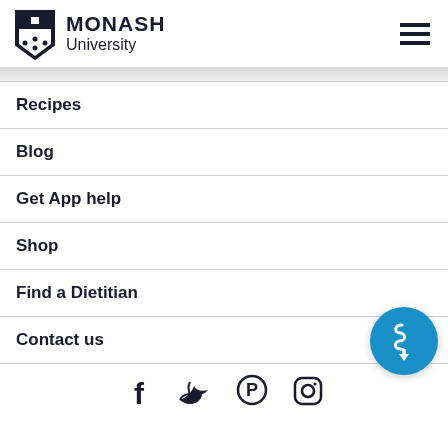[Figure (logo): Monash University logo with crest and text 'MONASH University']
[Figure (other): Hamburger menu icon (three horizontal lines)]
Recipes
Blog
Get App help
Shop
Find a Dietitian
Contact us
[Figure (illustration): FODMAP diet app icon — circular blue button with stylized intestine/gut graphic and downward arrow]
[Figure (other): Social media icons row: Facebook, Twitter, Pinterest, Instagram]